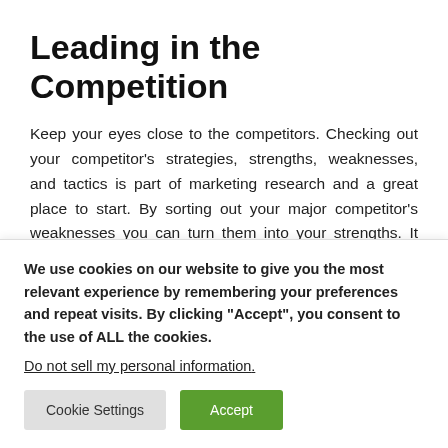Leading in the Competition
Keep your eyes close to the competitors. Checking out your competitor's strategies, strengths, weaknesses, and tactics is part of marketing research and a great place to start. By sorting out your major competitor's weaknesses you can turn them into your strengths. It gives you a competitive advantage over your opponents.
By running market research, the report shows that the
We use cookies on our website to give you the most relevant experience by remembering your preferences and repeat visits. By clicking “Accept”, you consent to the use of ALL the cookies.
Do not sell my personal information.